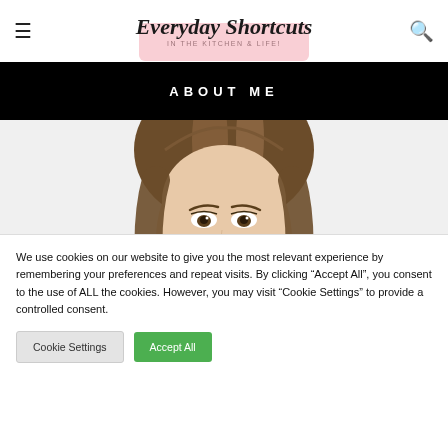Everyday Shortcuts - IN THE KITCHEN & LIFE!
ABOUT ME
[Figure (photo): Portrait photo of a woman with brown hair, showing the top half of her face (eyes and hair visible), cropped at the bottom of the frame. Light background.]
We use cookies on our website to give you the most relevant experience by remembering your preferences and repeat visits. By clicking “Accept All”, you consent to the use of ALL the cookies. However, you may visit “Cookie Settings” to provide a controlled consent.
Cookie Settings    Accept All